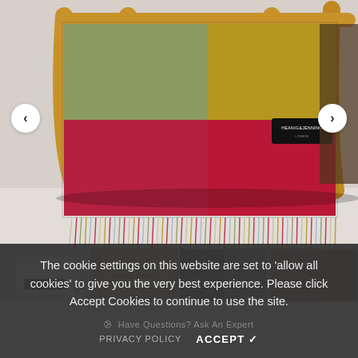[Figure (photo): A colorful plaid/checked wool blanket with fringe, draped over a wooden stool with curved legs. The blanket has large blocks of red, olive/sage green, and golden yellow. A black brand label is visible. Background is light grey/white.]
[Figure (photo): Thumbnail strip showing four smaller variant images of blankets: white/plain, beige/wrapped, grey textured, and pink/mauve.]
The cookie settings on this website are set to 'allow all cookies' to give you the very best experience. Please click Accept Cookies to continue to use the site.
PRIVACY POLICY   ACCEPT ✓